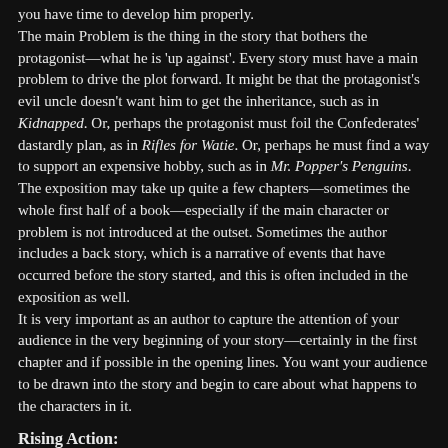you have time to develop him properly.
The main Problem is the thing in the story that bothers the protagonist—what he is 'up against'. Every story must have a main problem to drive the plot forward. It might be that the protagonist's evil uncle doesn't want him to get the inheritance, such as in Kidnapped. Or, perhaps the protagonist must foil the Confederates' dastardly plan, as in Rifles for Watie. Or, perhaps he must find a way to support an expensive hobby, such as in Mr. Popper's Penguins.
The exposition may take up quite a few chapters—sometimes the whole first half of a book—especially if the main character or problem is not introduced at the outset. Sometimes the author includes a back story, which is a narrative of events that have occurred before the story started, and this is often included in the exposition as well.
It is very important as an author to capture the attention of your audience in the very beginning of your story—certainly in the first chapter and if possible in the opening lines. You want your audience to be drawn into the story and begin to care about what happens to the characters in it.
Rising Action: